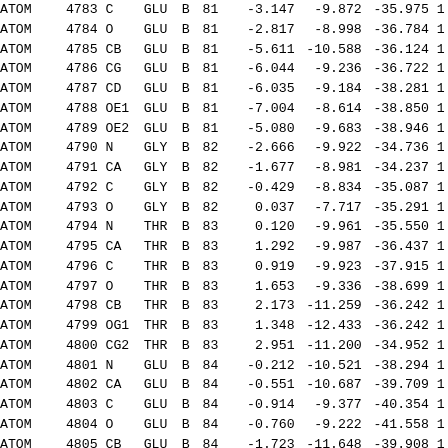| Record | Serial | Name | ResName | Chain | ResSeq | X | Y | Z | ... |
| --- | --- | --- | --- | --- | --- | --- | --- | --- | --- |
| ATOM | 4783 | C | GLU | B | 81 | -3.147 | -9.872 | -35.975 |  |
| ATOM | 4784 | O | GLU | B | 81 | -2.817 | -8.998 | -36.784 |  |
| ATOM | 4785 | CB | GLU | B | 81 | -5.611 | -10.588 | -36.124 |  |
| ATOM | 4786 | CG | GLU | B | 81 | -6.044 | -9.236 | -36.722 |  |
| ATOM | 4787 | CD | GLU | B | 81 | -6.035 | -9.184 | -38.281 |  |
| ATOM | 4788 | OE1 | GLU | B | 81 | -7.004 | -8.614 | -38.850 |  |
| ATOM | 4789 | OE2 | GLU | B | 81 | -5.080 | -9.683 | -38.946 |  |
| ATOM | 4790 | N | GLY | B | 82 | -2.666 | -9.922 | -34.736 |  |
| ATOM | 4791 | CA | GLY | B | 82 | -1.677 | -8.981 | -34.237 |  |
| ATOM | 4792 | C | GLY | B | 82 | -0.429 | -8.834 | -35.087 |  |
| ATOM | 4793 | O | GLY | B | 82 | 0.037 | -7.717 | -35.291 |  |
| ATOM | 4794 | N | THR | B | 83 | 0.120 | -9.961 | -35.550 |  |
| ATOM | 4795 | CA | THR | B | 83 | 1.292 | -9.987 | -36.437 |  |
| ATOM | 4796 | C | THR | B | 83 | 0.919 | -9.923 | -37.915 |  |
| ATOM | 4797 | O | THR | B | 83 | 1.653 | -9.336 | -38.699 |  |
| ATOM | 4798 | CB | THR | B | 83 | 2.173 | -11.259 | -36.242 |  |
| ATOM | 4799 | OG1 | THR | B | 83 | 1.348 | -12.433 | -36.242 |  |
| ATOM | 4800 | CG2 | THR | B | 83 | 2.951 | -11.200 | -34.952 |  |
| ATOM | 4801 | N | GLU | B | 84 | -0.212 | -10.521 | -38.294 |  |
| ATOM | 4802 | CA | GLU | B | 84 | -0.551 | -10.687 | -39.709 |  |
| ATOM | 4803 | C | GLU | B | 84 | -0.914 | -9.377 | -40.354 |  |
| ATOM | 4804 | O | GLU | B | 84 | -0.760 | -9.222 | -41.558 |  |
| ATOM | 4805 | CB | GLU | B | 84 | -1.723 | -11.648 | -39.908 |  |
| ATOM | 4806 | CG | GLU | B | 84 | -1.488 | -13.095 | -39.431 |  |
| ATOM | 4807 | CD | GLU | B | 84 | -0.778 | -13.978 | -40.451 |  |
| ATOM | 4808 | OE1 | GLU | B | 84 | -0.133 | -13.416 | -41.374 |  |
| ATOM | 4809 | OE2 | GLU | B | 84 | -0.876 | -15.233 | -40.317 |  |
| ATOM | 4810 | N | MET | B | 85 | -1.401 | -8.430 | -39.558 |  |
| ATOM | 4811 | CA | MET | B | 85 | -1.873 | -7.158 | -40.091 |  |
| ATOM | 4812 | C | MET | B | 85 | -0.711 | -6.368 | -40.663 |  |